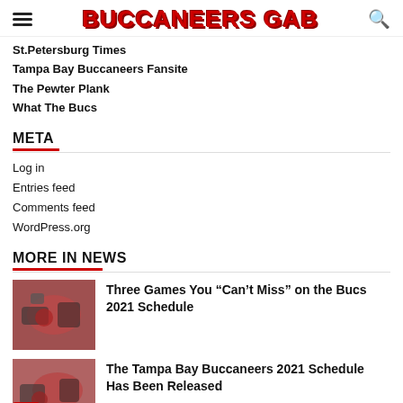BUCCANEERS GAB
St.Petersburg Times
Tampa Bay Buccaneers Fansite
The Pewter Plank
What The Bucs
META
Log in
Entries feed
Comments feed
WordPress.org
MORE IN NEWS
[Figure (photo): Football game action photo showing players in red uniforms]
Three Games You “Can’t Miss” on the Bucs 2021 Schedule
[Figure (photo): Football game photo with share icon overlay]
The Tampa Bay Buccaneers 2021 Schedule Has Been Released